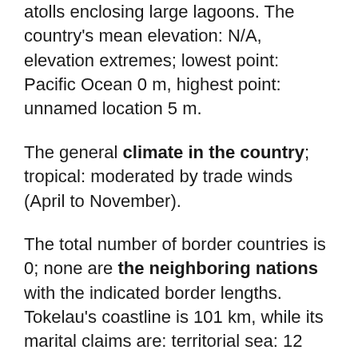Tokelau's terrain is typically low-lying coral atolls enclosing large lagoons. The country's mean elevation: N/A, elevation extremes; lowest point: Pacific Ocean 0 m, highest point: unnamed location 5 m.
The general climate in the country; tropical: moderated by trade winds (April to November).
The total number of border countries is 0; none are the neighboring nations with the indicated border lengths. Tokelau's coastline is 101 km, while its marital claims are: territorial sea: 12 nautical miles, exclusive economic zone: 200 nautical miles. Waterways: N/A. Land use: agricultural land: 60%; arable land 0%; permanent crops 60%; permanent pasture 0%; forest: 0%; other: